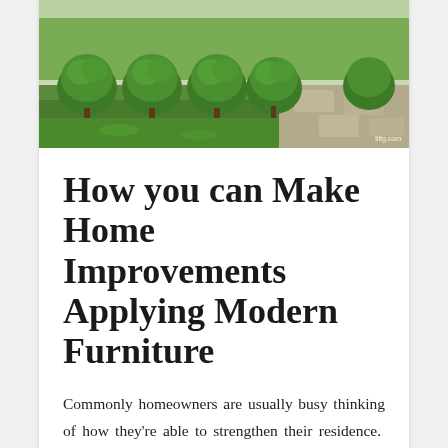[Figure (photo): Outdoor garden scene with trimmed round topiary bushes in a row, green grass, and a stone stepping path on the right. Small watermark reading 'lifig.com' in the bottom-right corner.]
How you can Make Home Improvements Applying Modern Furniture
Commonly homeowners are usually busy thinking of how they're able to strengthen their residence. They usually do some investigation, study some magazines, and watch Tv